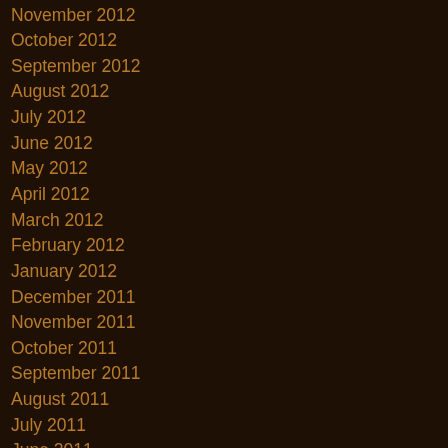November 2012
October 2012
September 2012
August 2012
July 2012
June 2012
May 2012
April 2012
March 2012
February 2012
January 2012
December 2011
November 2011
October 2011
September 2011
August 2011
July 2011
June 2011
May 2011
April 2011